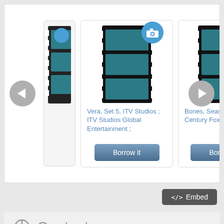[Figure (screenshot): Carousel of video/media items. Left navigation arrow button (gray circle). Partial card (cut off). First full card: film strip icon with blue camera badge, title 'Vera, Set 5, ITV Studios ; ITV Studios Global Entertainment ;', blue 'Borrow it' button. Second partial card: film strip icon with blue camera badge, title 'Bones, Season four, 20th Century Fox Television in', blue 'Borrow it' button. Right navigation arrow button (gray circle). Embed button (dark gray, bottom right).]
Context